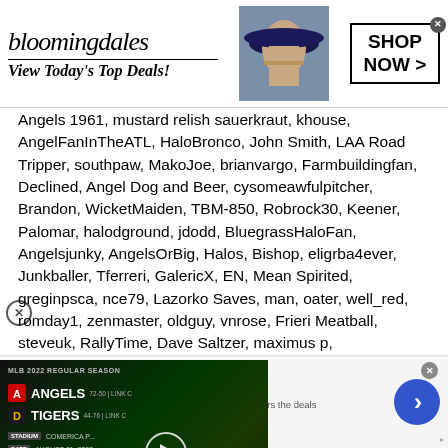[Figure (photo): Bloomingdales advertisement banner: logo, 'View Today's Top Deals!', woman with hat, SHOP NOW button]
Angels 1961, mustard relish sauerkraut, khouse, AngelFanInTheATL, HaloBronco, John Smith, LAA Road Tripper, southpaw, MakoJoe, brianvargo, Farmbuildingfan, Declined, Angel Dog and Beer, cysomeawfulpitcher, Brandon, WicketMaiden, TBM-850, Robrock30, Keener, Palomar, halodground, jdodd, BluegrassHaloFan, Angelsjunky, AngelsOrBig, Halos, Bishop, eligrba4ever, Junkballer, Tferreri, GalericX, EN, Mean Spirited, greginpsca, nce79, Lazorko Saves, man, oater, well_red, romday1, zenmaster, oldguy, vnrose, Frieri Meatball, steveuk, RallyTime, Dave Saltzer, maximus p, Reveille1984, AngelStew43, ATX Halo, Rollinghard,
[Figure (screenshot): MLB 2022 Regular Season video overlay: Angels vs Tigers, Comerica Park, August 21 2022, play button]
[Figure (photo): Nike Just Do It advertisement: Air Force 1 shoes, 'Inspiring the world's athletes, Nike delivers the deals', www.nike.com, blue arrow button]